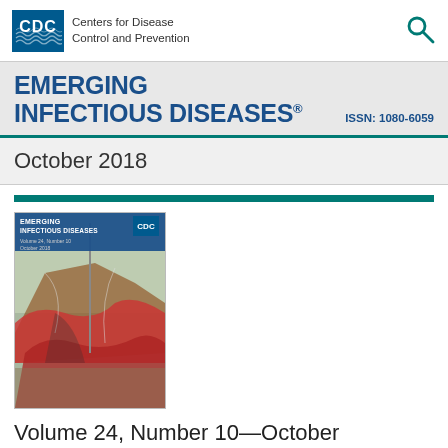[Figure (logo): CDC (Centers for Disease Control and Prevention) logo with blue box and text]
EMERGING INFECTIOUS DISEASES
ISSN: 1080-6059
October 2018
[Figure (photo): Cover image of Emerging Infectious Diseases journal, Volume 24 Number 10, October 2018, showing a painting with tent/fabric scene]
Volume 24, Number 10—October 2018